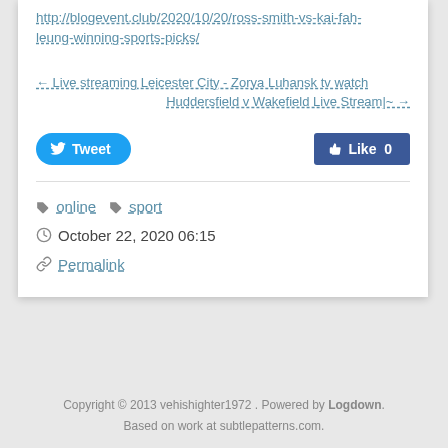http://blogevent.club/2020/10/20/ross-smith-vs-kai-fah-leung-winning-sports-picks/
← Live streaming Leicester City - Zorya Luhansk tv watch
Huddersfield v Wakefield Live Stream|~ →
[Figure (other): Tweet button (Twitter/X blue rounded button with bird icon)]
[Figure (other): Like button (Facebook blue button with thumbs up icon, count 0)]
online  sport
October 22, 2020 06:15
Permalink
Copyright © 2013 vehishighter1972 . Powered by Logdown. Based on work at subtlepatterns.com.